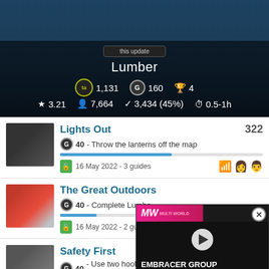[Figure (screenshot): Game hero banner showing Lumber game with dark background]
Lumber
1,131  G 160  🏆 4
★ 3.21  👤 7,664  ✓ 3,434 (45%)  ⏱ 0.5-1h
Lights Out  322
G 40 - Throw the lanterns off the map
16 May 2022 - 3 guides
The Great Outdoors
G 40 - Complete Lumber
16 May 2022 - 2 guides
Safety First  303
G 40 - Use two hooks when crossing the chasm in Lumber
[Figure (screenshot): Video ad overlay: MW logo, play button, EMBRACER GROUP BUY LOTR RIGHTS text]